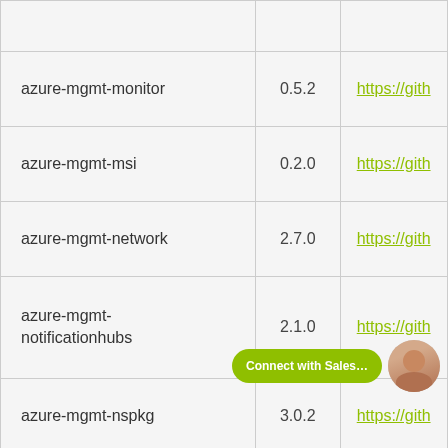| Package | Version | Link |
| --- | --- | --- |
| azure-mgmt-monitor | 0.5.2 | https://gith |
| azure-mgmt-msi | 0.2.0 | https://gith |
| azure-mgmt-network | 2.7.0 | https://gith |
| azure-mgmt-notificationhubs | 2.1.0 | https://gith |
| azure-mgmt-nspkg | 3.0.2 | https://gith |